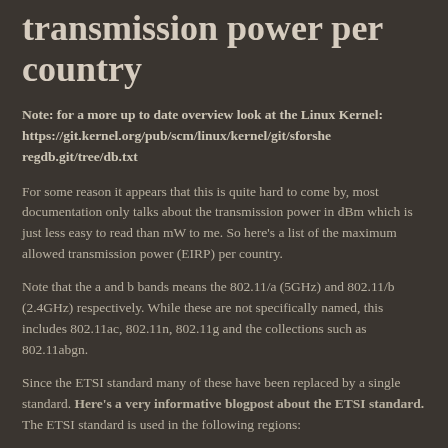transmission power per country
Note: for a more up to date overview look at the Linux Kernel: https://git.kernel.org/pub/scm/linux/kernel/git/sforshe regdb.git/tree/db.txt
For some reason it appears that this is quite hard to come by, most documentation only talks about the transmission power in dBm which is just less easy to read than mW to me. So here's a list of the maximum allowed transmission power (EIRP) per country.
Note that the a and b bands means the 802.11/a (5GHz) and 802.11/b (2.4GHz) respectively. While these are not specifically named, this includes 802.11ac, 802.11n, 802.11g and the collections such as 802.11abgn.
Since the ETSI standard many of these have been replaced by a single standard. Here's a very informative blogpost about the ETSI standard. The ETSI standard is used in the following regions: